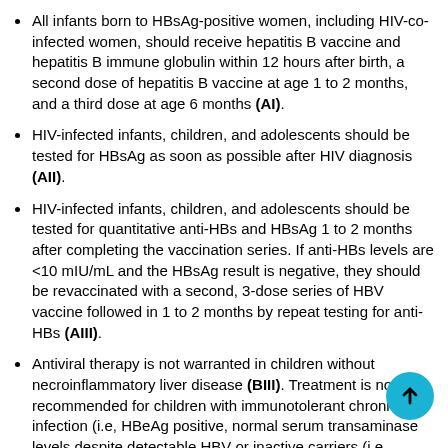All infants born to HBsAg-positive women, including HIV-co-infected women, should receive hepatitis B vaccine and hepatitis B immune globulin within 12 hours after birth, a second dose of hepatitis B vaccine at age 1 to 2 months, and a third dose at age 6 months (AI).
HIV-infected infants, children, and adolescents should be tested for HBsAg as soon as possible after HIV diagnosis (AII).
HIV-infected infants, children, and adolescents should be tested for quantitative anti-HBs and HBsAg 1 to 2 months after completing the vaccination series. If anti-HBs levels are <10 mIU/mL and the HBsAg result is negative, they should be revaccinated with a second, 3-dose series of HBV vaccine followed in 1 to 2 months by repeat testing for anti-HBs (AIII).
Antiviral therapy is not warranted in children without necroinflammatory liver disease (BIII). Treatment is not recommended for children with immunotolerant chronic HBV infection (i.e, HBeAg positive, normal serum transaminase levels despite detectable HBV or inactive carriers (i.e. HBeAg negative, normal serum transaminase levels despite detectable HBV DNA) (BII). Indications for treatment of chronic HBV infection in...